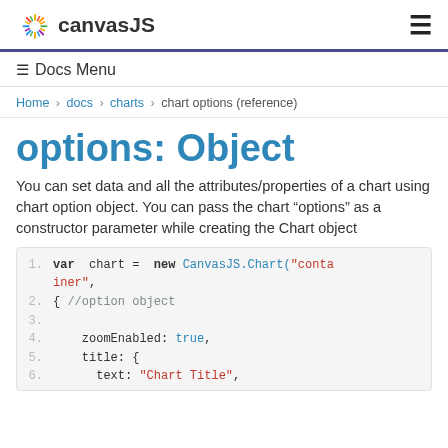CanvasJS  ☰
☰ Docs Menu
Home › docs › charts › chart options (reference)
options: Object
You can set data and all the attributes/properties of a chart using chart option object. You can pass the chart "options" as a constructor parameter while creating the Chart object
1. var  chart =  new CanvasJS.Chart("container",
2. { //option object
3.
4.     zoomEnabled: true,
5.     title: {
6.       text: "Chart Title",